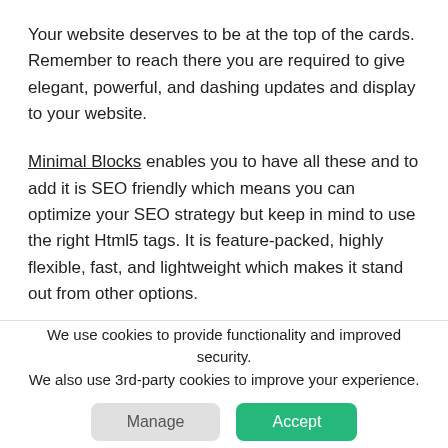Your website deserves to be at the top of the cards. Remember to reach there you are required to give elegant, powerful, and dashing updates and display to your website.
Minimal Blocks enables you to have all these and to add it is SEO friendly which means you can optimize your SEO strategy but keep in mind to use the right Html5 tags. It is feature-packed, highly flexible, fast, and lightweight which makes it stand out from other options.
Minimal Blocks offers responsive, multiple header layouts with footer widgets to appeal to the
We use cookies to provide functionality and improved security. We also use 3rd-party cookies to improve your experience.